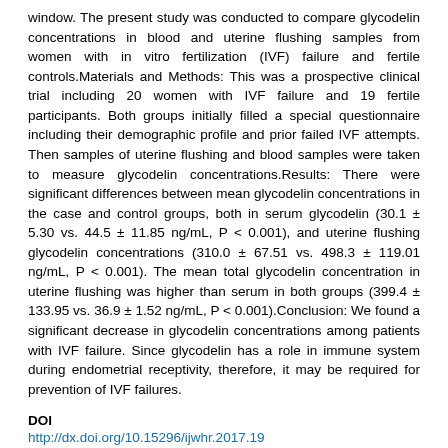window. The present study was conducted to compare glycodelin concentrations in blood and uterine flushing samples from women with in vitro fertilization (IVF) failure and fertile controls.Materials and Methods: This was a prospective clinical trial including 20 women with IVF failure and 19 fertile participants. Both groups initially filled a special questionnaire including their demographic profile and prior failed IVF attempts. Then samples of uterine flushing and blood samples were taken to measure glycodelin concentrations.Results: There were significant differences between mean glycodelin concentrations in the case and control groups, both in serum glycodelin (30.1 ± 5.30 vs. 44.5 ± 11.85 ng/mL, P < 0.001), and uterine flushing glycodelin concentrations (310.0 ± 67.51 vs. 498.3 ± 119.01 ng/mL, P < 0.001). The mean total glycodelin concentration in uterine flushing was higher than serum in both groups (399.4 ± 133.95 vs. 36.9 ± 1.52 ng/mL, P < 0.001).Conclusion: We found a significant decrease in glycodelin concentrations among patients with IVF failure. Since glycodelin has a role in immune system during endometrial receptivity, therefore, it may be required for prevention of IVF failures.
DOI
http://dx.doi.org/10.15296/ijwhr.2017.19